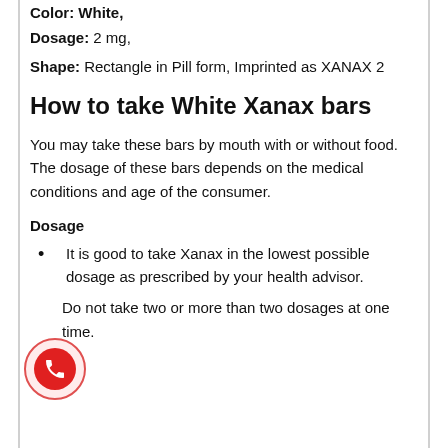Color: White,
Dosage: 2 mg,
Shape: Rectangle in Pill form, Imprinted as XANAX 2
How to take White Xanax bars
You may take these bars by mouth with or without food. The dosage of these bars depends on the medical conditions and age of the consumer.
Dosage
It is good to take Xanax in the lowest possible dosage as prescribed by your health advisor.
Do not take two or more than two dosages at one time.
[Figure (other): Red phone/call button icon with outer circle border]